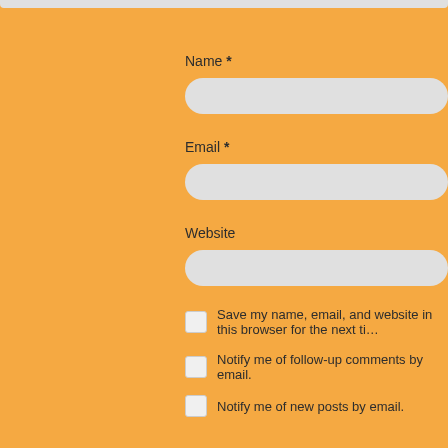Name *
[Figure (other): Text input field for Name]
Email *
[Figure (other): Text input field for Email]
Website
[Figure (other): Text input field for Website]
Save my name, email, and website in this browser for the next ti…
Notify me of follow-up comments by email.
Notify me of new posts by email.
Post Comment
This site uses Akismet to reduce spam. Learn how your comment…